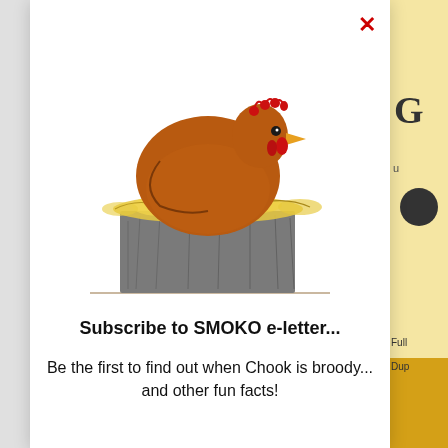[Figure (illustration): Cartoon illustration of a brown hen sitting on a grey nesting box, with yellow straw visible around the edges.]
Subscribe to SMOKO e-letter...
Be the first to find out when Chook is broody...
and other fun facts!